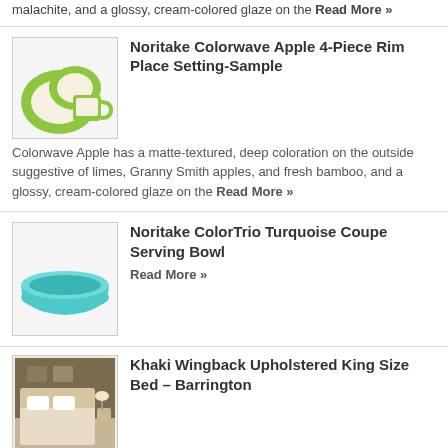malachite, and a glossy, cream-colored glaze on the Read More »
Noritake Colorwave Apple 4-Piece Rim Place Setting-Sample
Colorwave Apple has a matte-textured, deep coloration on the outside suggestive of limes, Granny Smith apples, and fresh bamboo, and a glossy, cream-colored glaze on the Read More »
Noritake ColorTrio Turquoise Coupe Serving Bowl
Read More »
Khaki Wingback Upholstered King Size Bed – Barrington
Barrington Collection Khaki Upholstered King Size Bed with Rails Classic design meets an easy-going character in the Barrington collection. The Barrington is finished in a complementary Read More »